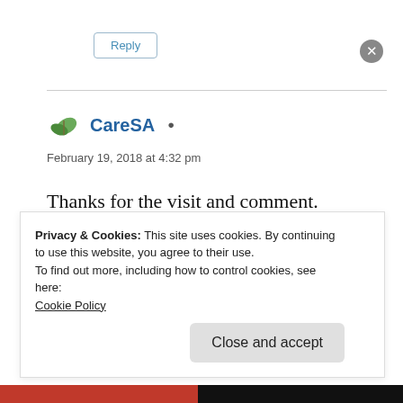Reply
CareSA
February 19, 2018 at 4:32 pm
Thanks for the visit and comment. Perhaps, just perhaps if it were up to the ordinary people, but not a chance with the power of politics at play !
Privacy & Cookies: This site uses cookies. By continuing to use this website, you agree to their use.
To find out more, including how to control cookies, see here:
Cookie Policy
Close and accept